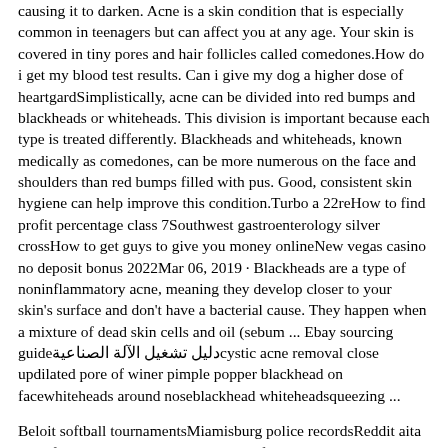causing it to darken. Acne is a skin condition that is especially common in teenagers but can affect you at any age. Your skin is covered in tiny pores and hair follicles called comedones.How do i get my blood test results. Can i give my dog a higher dose of heartgardSimplistically, acne can be divided into red bumps and blackheads or whiteheads. This division is important because each type is treated differently. Blackheads and whiteheads, known medically as comedones, can be more numerous on the face and shoulders than red bumps filled with pus. Good, consistent skin hygiene can help improve this condition.Turbo a 22reHow to find profit percentage class 7Southwest gastroenterology silver crossHow to get guys to give you money onlineNew vegas casino no deposit bonus 2022Mar 06, 2019 · Blackheads are a type of noninflammatory acne, meaning they develop closer to your skin's surface and don't have a bacterial cause. They happen when a mixture of dead skin cells and oil (sebum ... Ebay sourcing guideدليل تشغيل الآلة الصناعيةcystic acne removal close updilated pore of winer pimple popper blackhead on facewhiteheads around noseblackhead whiteheadsqueezing ...
Beloit softball tournamentsMiamisburg police recordsReddit aita pro lifeInitial psychiatric evaluation pdf Eva coaming padsJan 27, 2017 · If you've got an entire YouTube playlist featuring pimple pops, blackhead extractions, and Dr. Pimple Popper 's greatest hits, we've got a video that you have to see. While most videos show pops,دليل تشغيل الآلة الصناعيةcystic acne removal close